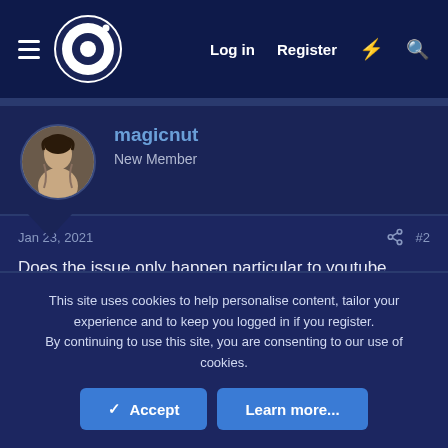Log in  Register
magicnut
New Member
Jan 23, 2021  #2
Does the issue only happen particular to youtube servers or did you also try to stream say on twitch and dropped frames there?
This site uses cookies to help personalise content, tailor your experience and to keep you logged in if you register.
By continuing to use this site, you are consenting to our use of cookies.